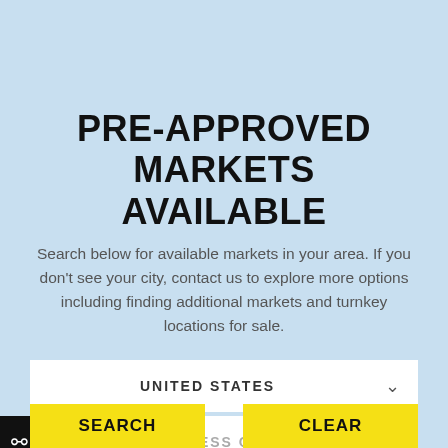PRE-APPROVED MARKETS AVAILABLE
Search below for available markets in your area. If you don't see your city, contact us to explore more options including finding additional markets and turnkey locations for sale.
UNITED STATES
ADDRESS OR ZIP
SEARCH
CLEAR